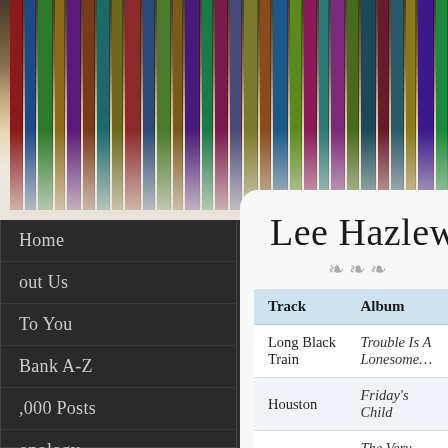[Figure (photo): Bookshelf with rows of vinyl records and books viewed from the side, showing colorful spines]
Lee Hazlewood
| Track | Album |
| --- | --- |
| Long Black Train | Trouble Is A Lonesome... |
| Houston | Friday's Child |
| I Move Around | The Very Special World... |
| Chico | The Cowboy And The L... |
| No Train To Stockholm | Cowboy In Sweden |
| I'll Live Yesterdays | Requiem For An Almost... |
Home
About Us
To You
Bank A-Z
1,000 Posts
onology